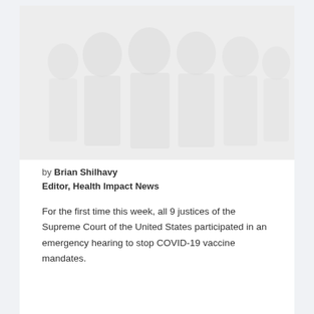[Figure (photo): Faded/ghosted black and white photo showing silhouettes of multiple people, likely judges or officials, very light and washed out]
by Brian Shilhavy
Editor, Health Impact News
For the first time this week, all 9 justices of the Supreme Court of the United States participated in an emergency hearing to stop COVID-19 vaccine mandates.